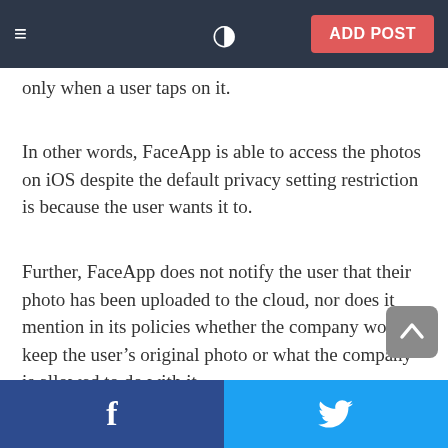≡  ) ADD POST
only when a user taps on it.
In other words, FaceApp is able to access the photos on iOS despite the default privacy setting restriction is because the user wants it to.
Further, FaceApp does not notify the user that their photo has been uploaded to the cloud, nor does it mention in its policies whether the company would keep the user's original photo or what the company is allowed to do with it.
Also, the company's extremely broad terms of service
f  🐦